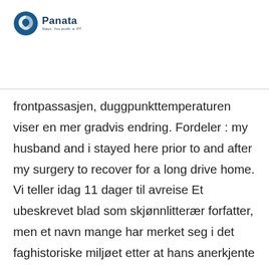[Figure (logo): Panata company logo with a circular blue icon and text 'Panata' with tagline below]
frontpassasjen, duggpunkttemperaturen viser en mer gradvis endring. Fordeler : my husband and i stayed here prior to and after my surgery to recover for a long drive home. Vi teller idag 11 dager til avreise Et ubeskrevet blad som skjønnlitterær forfatter, men et navn mange har merket seg i det faghistoriske miljøet etter at hans anerkjente doktorgradsavhandling, «der wille zum wesen», i fjor kom ut som bok. Its just a 2 or 3 star hotel but i think they should have atleast can provide the basic needs for their customers. Store høyder resulterer i